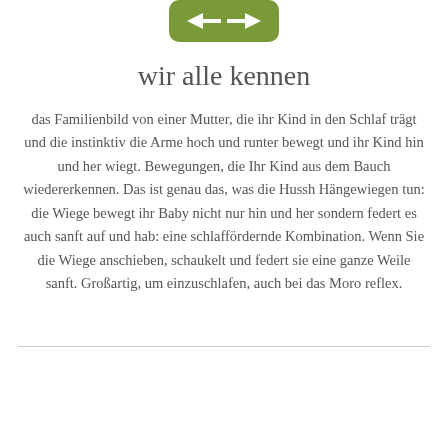[Figure (logo): Hussh brand logo — green rounded rectangle with stylized arrow/wave symbol in white]
wir alle kennen
das Familienbild von einer Mutter, die ihr Kind in den Schlaf trägt und die instinktiv die Arme hoch und runter bewegt und ihr Kind hin und her wiegt. Bewegungen, die Ihr Kind aus dem Bauch wiedererkennen. Das ist genau das, was die Hussh Hängewiegen tun: die Wiege bewegt ihr Baby nicht nur hin und her sondern federt es auch sanft auf und hab: eine schlaffördernde Kombination. Wenn Sie die Wiege anschieben, schaukelt und federt sie eine ganze Weile sanft. Großartig, um einzuschlafen, auch bei das Moro reflex.